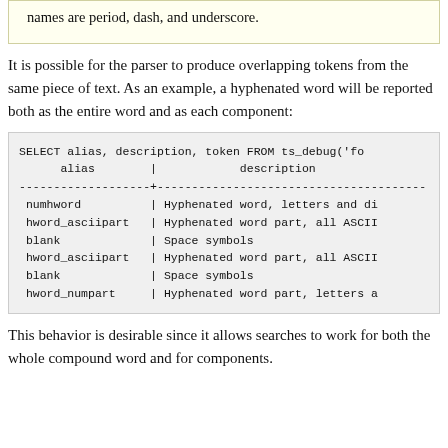names are period, dash, and underscore.
It is possible for the parser to produce overlapping tokens from the same piece of text. As an example, a hyphenated word will be reported both as the entire word and as each component:
| alias | description |
| --- | --- |
| SELECT alias, description, token FROM ts_debug('fo |  |
| alias | description |
| -------------------+--------------------------------------- |  |
| numhword | Hyphenated word, letters and di |
| hword_asciipart | Hyphenated word part, all ASCII |
| blank | Space symbols |
| hword_asciipart | Hyphenated word part, all ASCII |
| blank | Space symbols |
| hword_numpart | Hyphenated word part, letters a |
This behavior is desirable since it allows searches to work for both the whole compound word and for components.